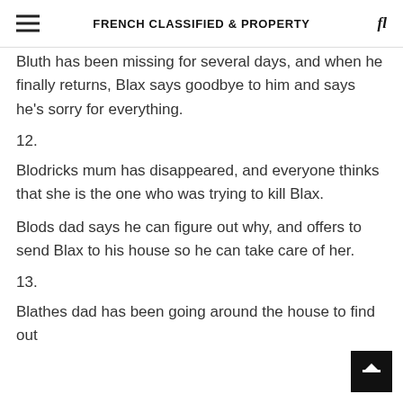FRENCH CLASSIFIED & PROPERTY
Bluth has been missing for several days, and when he finally returns, Blax says goodbye to him and says he's sorry for everything.
12.
Blodricks mum has disappeared, and everyone thinks that she is the one who was trying to kill Blax.
Blods dad says he can figure out why, and offers to send Blax to his house so he can take care of her.
13.
Blathes dad has been going around the house to find out